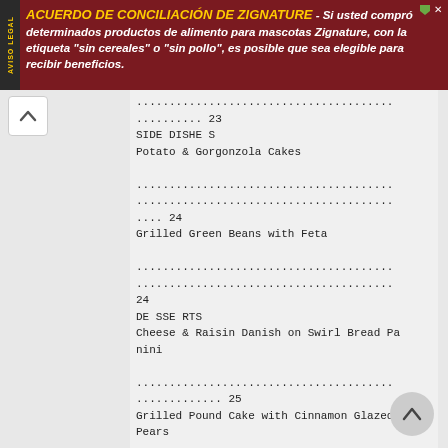[Figure (other): Advertisement banner for Acuerdo de Conciliación de Zignature in dark red/maroon background with yellow and white text in Spanish]
....................................... .......... 23
SIDE DISHE S
Potato & Gorgonzola Cakes
....................................... ....................................... .... 24
Grilled Green Beans with Feta
....................................... ....................................... 24
DE SSE RTS
Cheese & Raisin Danish on Swirl Bread Panini
....................................... ............. 25
Grilled Pound Cake with Cinnamon Glazed Pears
....................................... .......... 26
COOK ING GUIDE AND FOOD TE MPE R ATUR E C